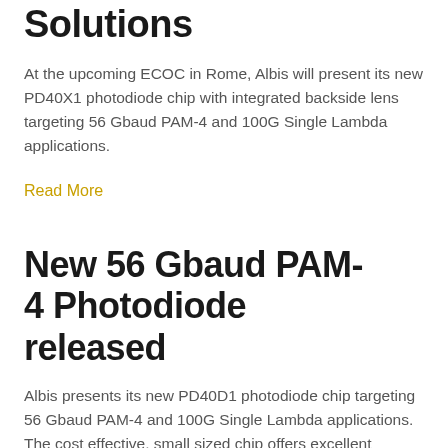Solutions
At the upcoming ECOC in Rome, Albis will present its new PD40X1 photodiode chip with integrated backside lens targeting 56 Gbaud PAM-4 and 100G Single Lambda applications.
Read More
New 56 Gbaud PAM-4 Photodiode released
Albis presents its new PD40D1 photodiode chip targeting 56 Gbaud PAM-4 and 100G Single Lambda applications. The cost effective, small sized chip offers excellent responsivity of 0.6 A/W at 1310nm. The ground-signal-ground pad configuration enables easy and direct bonding to any TIA pad layout.